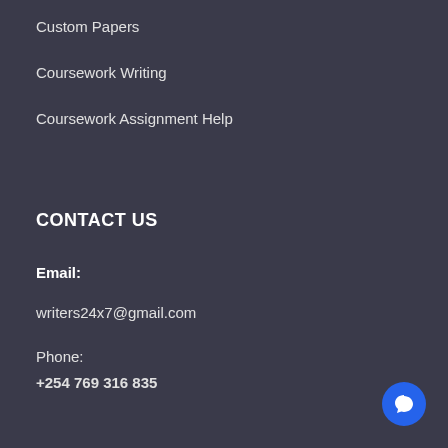Custom Papers
Coursework Writing
Coursework Assignment Help
CONTACT US
Email:
writers24x7@gmail.com
Phone:
+254 769 316 835